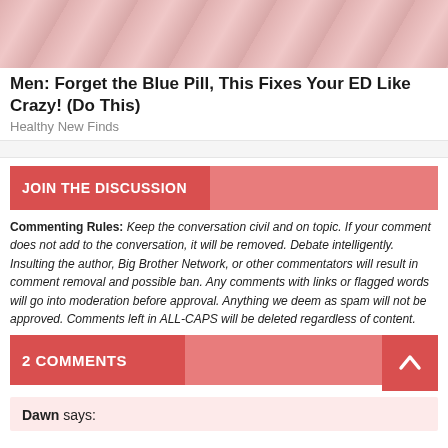[Figure (photo): Advertisement image strip at top, partial view of skin-toned background]
Men: Forget the Blue Pill, This Fixes Your ED Like Crazy! (Do This)
Healthy New Finds
JOIN THE DISCUSSION
Commenting Rules: Keep the conversation civil and on topic. If your comment does not add to the conversation, it will be removed. Debate intelligently. Insulting the author, Big Brother Network, or other commentators will result in comment removal and possible ban. Any comments with links or flagged words will go into moderation before approval. Anything we deem as spam will not be approved. Comments left in ALL-CAPS will be deleted regardless of content.
2 COMMENTS
Dawn says: